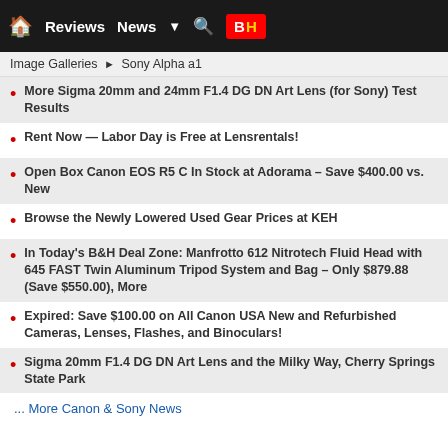Reviews  News  B|H
Image Galleries ▶ Sony Alpha a1
More Sigma 20mm and 24mm F1.4 DG DN Art Lens (for Sony) Test Results
Rent Now — Labor Day is Free at Lensrentals!
Open Box Canon EOS R5 C In Stock at Adorama – Save $400.00 vs. New
Browse the Newly Lowered Used Gear Prices at KEH
In Today's B&H Deal Zone: Manfrotto 612 Nitrotech Fluid Head with 645 FAST Twin Aluminum Tripod System and Bag – Only $879.88 (Save $550.00), More
Expired: Save $100.00 on All Canon USA New and Refurbished Cameras, Lenses, Flashes, and Binoculars!
Sigma 20mm F1.4 DG DN Art Lens and the Milky Way, Cherry Springs State Park
... More Canon & Sony News